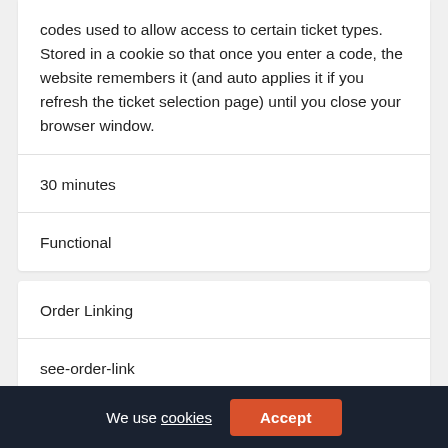codes used to allow access to certain ticket types. Stored in a cookie so that once you enter a code, the website remembers it (and auto applies it if you refresh the ticket selection page) until you close your browser window.
30 minutes
Functional
Order Linking
see-order-link
Allows user orders to be linked together for certain events.
We use cookies  Accept